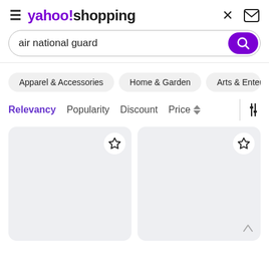[Figure (screenshot): Yahoo Shopping app header with hamburger menu, yahoo!shopping logo, close (X) and mail icons]
air national guard
Apparel & Accessories  Home & Garden  Arts & Entert...
Relevancy  Popularity  Discount  Price
[Figure (other): Two empty product cards with star/wishlist icons, loading state]